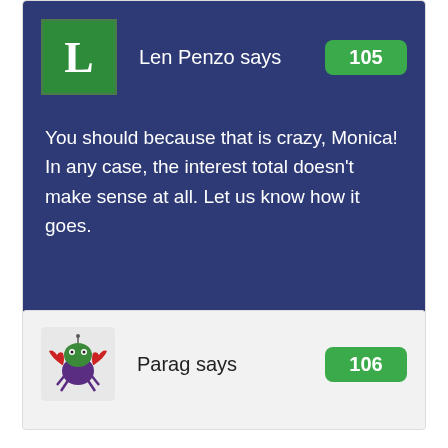Len Penzo says
105
You should because that is crazy, Monica! In any case, the interest total doesn't make sense at all. Let us know how it goes.
Parag says
106